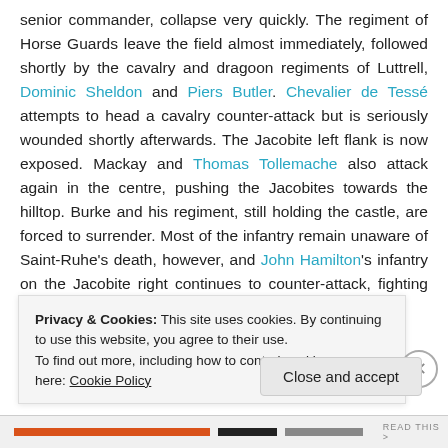senior commander, collapse very quickly. The regiment of Horse Guards leave the field almost immediately, followed shortly by the cavalry and dragoon regiments of Luttrell, Dominic Sheldon and Piers Butler. Chevalier de Tessé attempts to head a cavalry counter-attack but is seriously wounded shortly afterwards. The Jacobite left flank is now exposed. Mackay and Thomas Tollemache also attack again in the centre, pushing the Jacobites towards the hilltop. Burke and his regiment, still holding the castle, are forced to surrender. Most of the infantry remain unaware of Saint-Ruhe's death, however, and John Hamilton's infantry on the Jacobite right continues to counter-attack, fighting the Huguenot foot to a standstill in an area still
Privacy & Cookies: This site uses cookies. By continuing to use this website, you agree to their use.
To find out more, including how to control cookies, see here: Cookie Policy
Close and accept